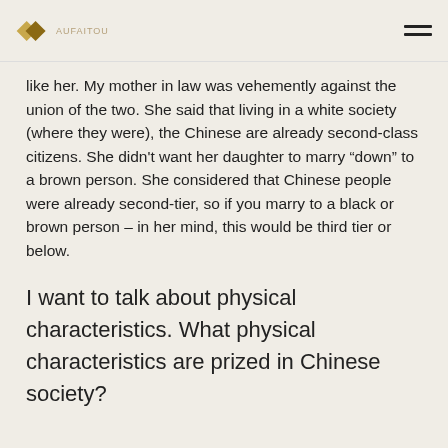Aufaitou
like her. My mother in law was vehemently against the union of the two. She said that living in a white society (where they were), the Chinese are already second-class citizens. She didn't want her daughter to marry “down” to a brown person. She considered that Chinese people were already second-tier, so if you marry to a black or brown person – in her mind, this would be third tier or below.
I want to talk about physical characteristics. What physical characteristics are prized in Chinese society?